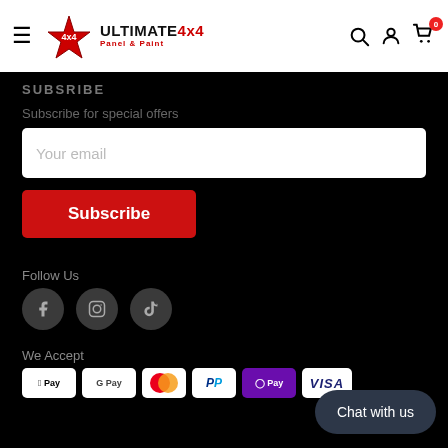Ultimate 4x4 Panel & Paint — navigation header with logo, search, account, and cart icons
SUBSRIBE
Subscribe for special offers
Your email
Subscribe
Follow Us
[Figure (illustration): Facebook, Instagram, and TikTok social media icons in grey circles]
We Accept
[Figure (illustration): Payment method badges: Apple Pay, Google Pay, Mastercard, PayPal, OPay, Visa]
Chat with us